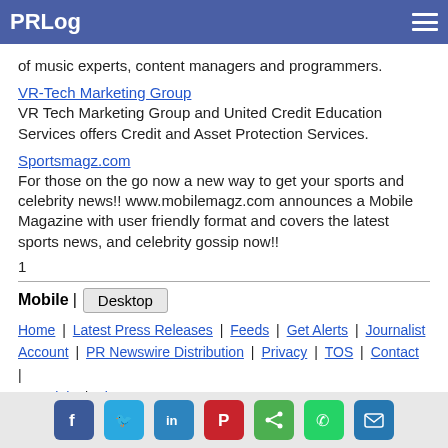PRLog
of music experts, content managers and programmers.
VR-Tech Marketing Group
VR Tech Marketing Group and United Credit Education Services offers Credit and Asset Protection Services.
Sportsmagz.com
For those on the go now a new way to get your sports and celebrity news!! www.mobilemagz.com announces a Mobile Magazine with user friendly format and covers the latest sports news, and celebrity gossip now!!
1
Mobile | Desktop
Home | Latest Press Releases | Feeds | Get Alerts | Journalist Account | PR Newswire Distribution | Privacy | TOS | Contact | Copyright | About